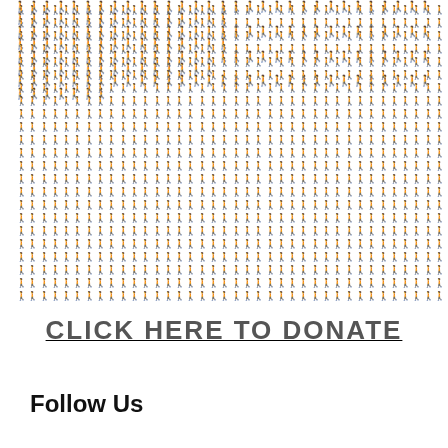[Figure (infographic): A grid of human silhouette icons arranged in rows. The top 4 rows are solid black figures, representing a portion of a population. The remaining rows fade progressively from dark gray to very light gray, representing the rest of the population.]
CLICK HERE TO DONATE
Follow Us